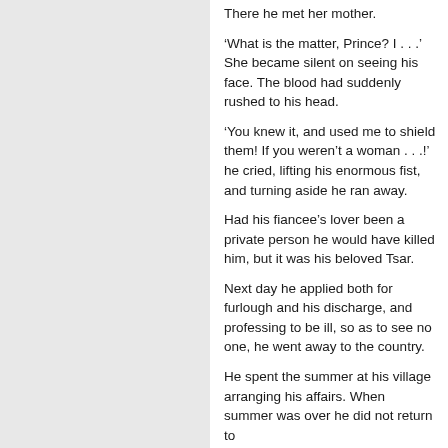There he met her mother.
‘What is the matter, Prince? I . . .’ She became silent on seeing his face. The blood had suddenly rushed to his head.
‘You knew it, and used me to shield them! If you weren’t a woman . . . !’ he cried, lifting his enormous fist, and turning aside he ran away.
Had his fiancee’s lover been a private person he would have killed him, but it was his beloved Tsar.
Next day he applied both for furlough and his discharge, and professing to be ill, so as to see no one, he went away to the country.
He spent the summer at his village arranging his affairs. When summer was over he did not return to